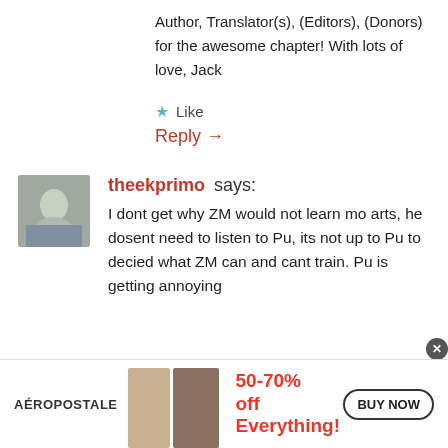Author, Translator(s), (Editors), (Donors) for the awesome chapter! With lots of love, Jack
★ Like
Reply →
theekprimo says:
I dont get why ZM would not learn mo arts, he dosent need to listen to Pu, its not up to Pu to decied what ZM can and cant train. Pu is getting annoying
[Figure (infographic): Aeropostale advertisement banner: 50-70% off Everything! with BUY NOW button and two female models]